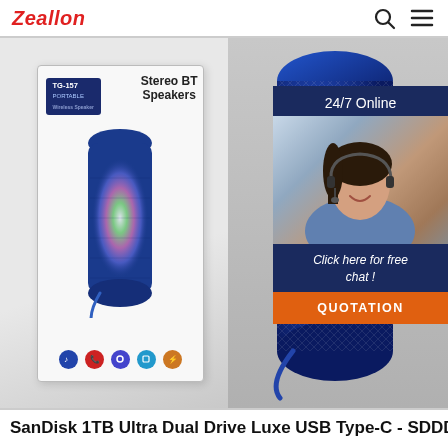Zeallon
[Figure (photo): Product photo of TG-157 Portable Wireless Stereo BT Speakers in blue, shown with product packaging box on the left displaying colorful LED lighting effect, and the actual blue cylindrical speaker on the right with T&G branding. An overlay shows a 24/7 Online customer service chat widget with a smiling female agent wearing a headset, text 'Click here for free chat!' and an orange QUOTATION button.]
SanDisk 1TB Ultra Dual Drive Luxe USB Type-C - SDDDC4